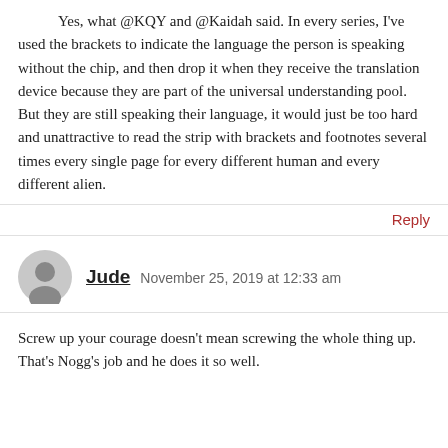Yes, what @KQY and @Kaidah said. In every series, I've used the brackets to indicate the language the person is speaking without the chip, and then drop it when they receive the translation device because they are part of the universal understanding pool. But they are still speaking their language, it would just be too hard and unattractive to read the strip with brackets and footnotes several times every single page for every different human and every different alien.
Reply
Jude  November 25, 2019 at 12:33 am
Screw up your courage doesn't mean screwing the whole thing up. That's Nogg's job and he does it so well.